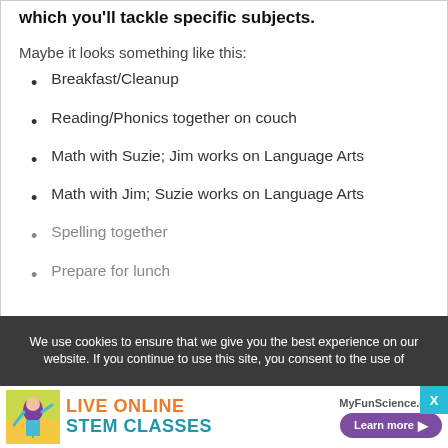which you'll tackle specific subjects.
Maybe it looks something like this:
Breakfast/Cleanup
Reading/Phonics together on couch
Math with Suzie; Jim works on Language Arts
Math with Jim; Suzie works on Language Arts
Spelling together
Prepare for lunch
We use cookies to ensure that we give you the best experience on our website. If you continue to use this site, you consent to the use of
[Figure (illustration): Advertisement banner for MyFunScience.com Live Online STEM Classes with a cartoon girl and Learn more button]